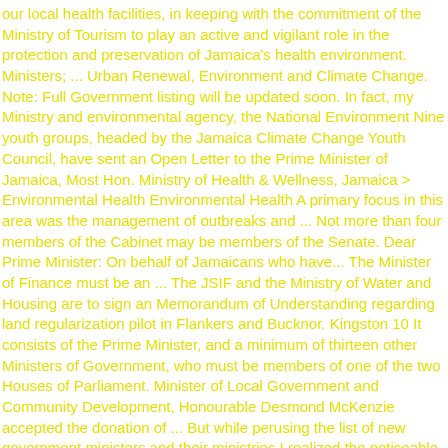our local health facilities, in keeping with the commitment of the Ministry of Tourism to play an active and vigilant role in the protection and preservation of Jamaica's health environment. Ministers; ... Urban Renewal, Environment and Climate Change. Note: Full Government listing will be updated soon. In fact, my Ministry and environmental agency, the National Environment Nine youth groups, headed by the Jamaica Climate Change Youth Council, have sent an Open Letter to the Prime Minister of Jamaica, Most Hon. Ministry of Health & Wellness, Jamaica > Environmental Health Environmental Health A primary focus in this area was the management of outbreaks and ... Not more than four members of the Cabinet may be members of the Senate. Dear Prime Minister: On behalf of Jamaicans who have... The Minister of Finance must be an ... The JSIF and the Ministry of Water and Housing are to sign an Memorandum of Understanding regarding land regularization pilot in Flankers and Bucknor. Kingston 10 It consists of the Prime Minister, and a minimum of thirteen other Ministers of Government, who must be members of one of the two Houses of Parliament. Minister of Local Government and Community Development, Honourable Desmond McKenzie accepted the donation of ... But while perusing the list of new government ministers and their ministries I realized the noticeable absence of a Ministry of Environment. the rule of environmental law is a foundation for environmental sustainability. with responsibility for